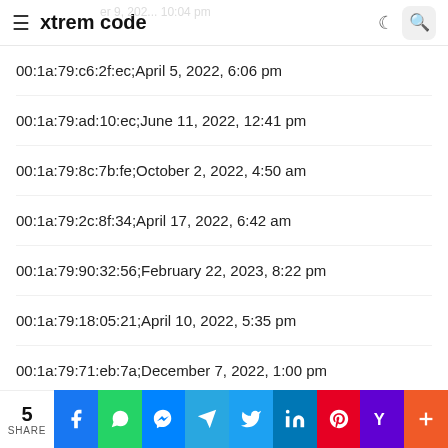xtrem code
00:1a:79:c6:2f:ec;April 5, 2022, 6:06 pm
00:1a:79:ad:10:ec;June 11, 2022, 12:41 pm
00:1a:79:8c:7b:fe;October 2, 2022, 4:50 am
00:1a:79:2c:8f:34;April 17, 2022, 6:42 am
00:1a:79:90:32:56;February 22, 2023, 8:22 pm
00:1a:79:18:05:21;April 10, 2022, 5:35 pm
00:1a:79:71:eb:7a;December 7, 2022, 1:00 pm